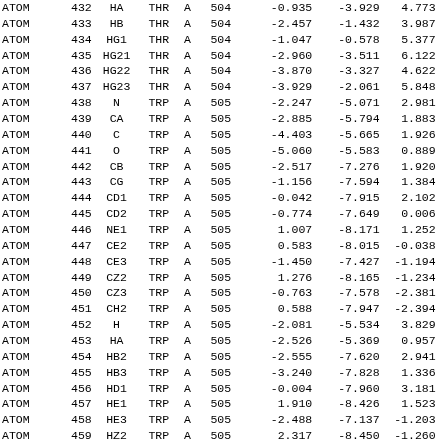| RECORD | SERIAL | NAME | RES | CH | SEQ |  | X | Y | Z |  |
| --- | --- | --- | --- | --- | --- | --- | --- | --- | --- | --- |
| ATOM | 432 | HA | THR | A | 504 |  | -0.935 | -3.929 | 4.773 |  |
| ATOM | 433 | HB | THR | A | 504 |  | -2.457 | -1.432 | 3.987 |  |
| ATOM | 434 | HG1 | THR | A | 504 |  | -1.047 | -0.578 | 5.377 |  |
| ATOM | 435 | HG21 | THR | A | 504 |  | -2.960 | -3.511 | 6.122 |  |
| ATOM | 436 | HG22 | THR | A | 504 |  | -3.870 | -3.327 | 4.622 |  |
| ATOM | 437 | HG23 | THR | A | 504 |  | -3.929 | -2.061 | 5.848 |  |
| ATOM | 438 | N | TRP | A | 505 |  | -2.247 | -5.071 | 2.981 |  |
| ATOM | 439 | CA | TRP | A | 505 |  | -2.885 | -5.794 | 1.883 |  |
| ATOM | 440 | C | TRP | A | 505 |  | -4.403 | -5.665 | 1.926 |  |
| ATOM | 441 | O | TRP | A | 505 |  | -5.060 | -5.583 | 0.889 |  |
| ATOM | 442 | CB | TRP | A | 505 |  | -2.517 | -7.276 | 1.920 |  |
| ATOM | 443 | CG | TRP | A | 505 |  | -1.156 | -7.594 | 1.384 |  |
| ATOM | 444 | CD1 | TRP | A | 505 |  | -0.042 | -7.915 | 2.102 |  |
| ATOM | 445 | CD2 | TRP | A | 505 |  | -0.774 | -7.649 | 0.006 |  |
| ATOM | 446 | NE1 | TRP | A | 505 |  | 1.007 | -8.171 | 1.252 |  |
| ATOM | 447 | CE2 | TRP | A | 505 |  | 0.583 | -8.015 | -0.038 |  |
| ATOM | 448 | CE3 | TRP | A | 505 |  | -1.450 | -7.427 | -1.194 |  |
| ATOM | 449 | CZ2 | TRP | A | 505 |  | 1.276 | -8.165 | -1.234 |  |
| ATOM | 450 | CZ3 | TRP | A | 505 |  | -0.763 | -7.578 | -2.381 |  |
| ATOM | 451 | CH2 | TRP | A | 505 |  | 0.588 | -7.947 | -2.394 |  |
| ATOM | 452 | H | TRP | A | 505 |  | -2.081 | -5.534 | 3.829 |  |
| ATOM | 453 | HA | TRP | A | 505 |  | -2.526 | -5.369 | 0.957 |  |
| ATOM | 454 | HB2 | TRP | A | 505 |  | -2.555 | -7.620 | 2.941 |  |
| ATOM | 455 | HB3 | TRP | A | 505 |  | -3.240 | -7.828 | 1.336 |  |
| ATOM | 456 | HD1 | TRP | A | 505 |  | -0.004 | -7.960 | 3.181 |  |
| ATOM | 457 | HE1 | TRP | A | 505 |  | 1.910 | -8.426 | 1.523 |  |
| ATOM | 458 | HE3 | TRP | A | 505 |  | -2.488 | -7.137 | -1.203 |  |
| ATOM | 459 | HZ2 | TRP | A | 505 |  | 2.317 | -8.450 | -1.260 |  |
| ATOM | 460 | HZ3 | TRP | A | 505 |  | -1.272 | -7.413 | -3.318 |  |
| ATOM | 461 | HH2 | TRP | A | 505 |  | 1.087 | -8.059 | -3.348 |  |
| ATOM | 462 | N | GLU | A | 506 |  | 1.055 | -5.000 | -0.180 |  |